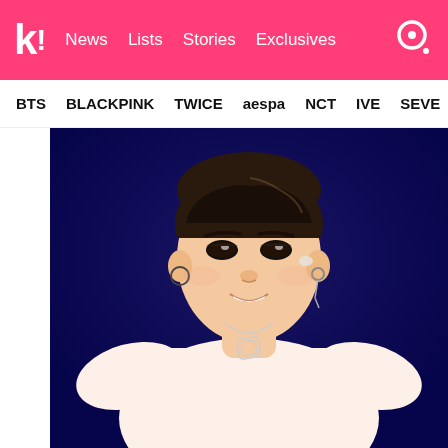k! News Lists Stories Exclusives
BTS BLACKPINK TWICE aespa NCT IVE SEVE
[Figure (photo): A young K-pop male performer on stage wearing a white short-sleeve shirt and silver necklace, with hoop and drop earrings, smiling, against a dark navy blue background.]